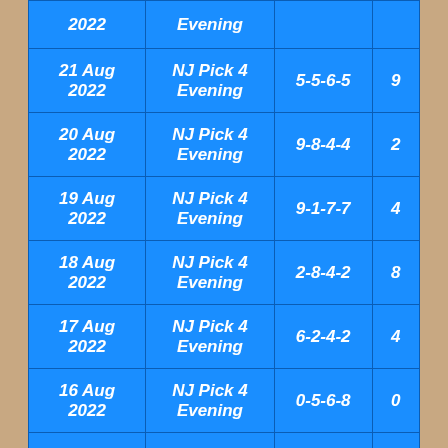| Date | Game | Numbers | Ball |
| --- | --- | --- | --- |
| 2022 | Evening |  |  |
| 21 Aug 2022 | NJ Pick 4 Evening | 5-5-6-5 | 9 |
| 20 Aug 2022 | NJ Pick 4 Evening | 9-8-4-4 | 2 |
| 19 Aug 2022 | NJ Pick 4 Evening | 9-1-7-7 | 4 |
| 18 Aug 2022 | NJ Pick 4 Evening | 2-8-4-2 | 8 |
| 17 Aug 2022 | NJ Pick 4 Evening | 6-2-4-2 | 4 |
| 16 Aug 2022 | NJ Pick 4 Evening | 0-5-6-8 | 0 |
| 15 Aug | NJ Pick 4 | 8-0-6-0 | 4 |